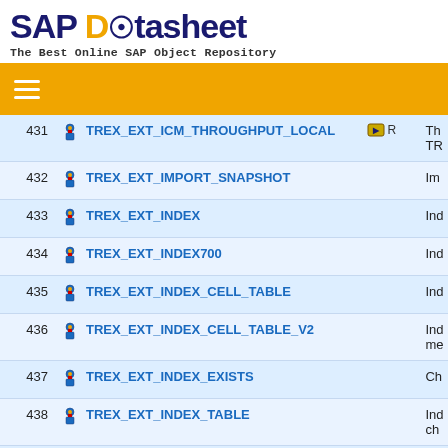SAP Datasheet - The Best Online SAP Object Repository
| # |  | Name | Badge | Description |
| --- | --- | --- | --- | --- |
| 431 |  | TREX_EXT_ICM_THROUGHPUT_LOCAL | R | Th TR |
| 432 |  | TREX_EXT_IMPORT_SNAPSHOT |  | Im |
| 433 |  | TREX_EXT_INDEX |  | Ind |
| 434 |  | TREX_EXT_INDEX700 |  | Ind |
| 435 |  | TREX_EXT_INDEX_CELL_TABLE |  | Ind |
| 436 |  | TREX_EXT_INDEX_CELL_TABLE_V2 |  | Ind me |
| 437 |  | TREX_EXT_INDEX_EXISTS |  | Ch |
| 438 |  | TREX_EXT_INDEX_TABLE |  | Ind ch |
| 439 |  | TREX_EXT_INVALIDATE_ABAP_CACHE | R | Inv |
| 440 |  | TREX_EXT_INVALIDATE_DFC |  | De |